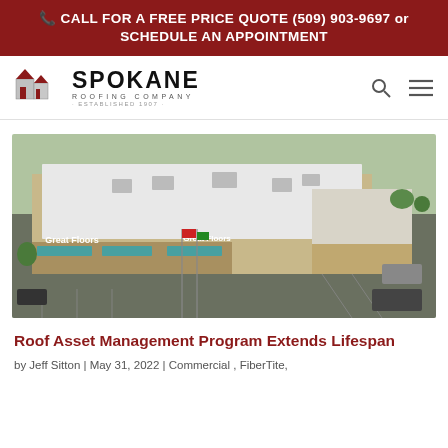CALL FOR A FREE PRICE QUOTE (509) 903-9697 or SCHEDULE AN APPOINTMENT
[Figure (logo): Spokane Roofing Company logo with house icon and company name]
[Figure (photo): Aerial drone photo of Great Floors commercial building with white flat roof and parking lot]
Roof Asset Management Program Extends Lifespan
by Jeff Sitton | May 31, 2022 | Commercial, FiberTite,